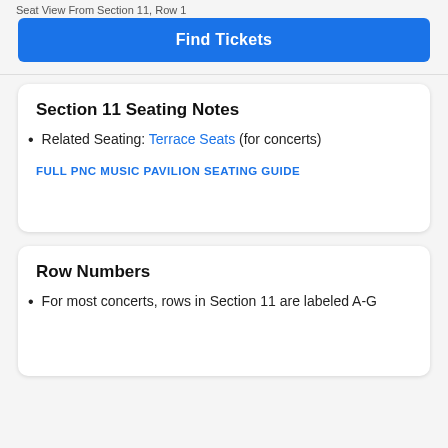Seat View From Section 11, Row 1
Find Tickets
Section 11 Seating Notes
Related Seating: Terrace Seats (for concerts)
FULL PNC MUSIC PAVILION SEATING GUIDE
Row Numbers
For most concerts, rows in Section 11 are labeled A-G